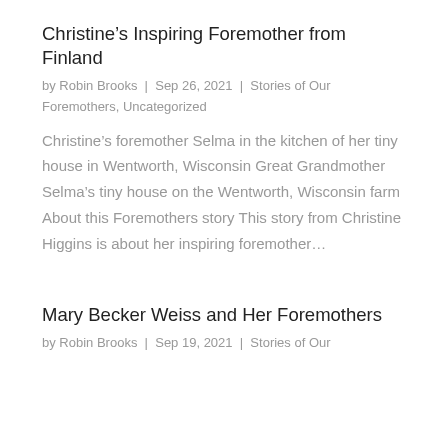Christine’s Inspiring Foremother from Finland
by Robin Brooks | Sep 26, 2021 | Stories of Our Foremothers, Uncategorized
Christine’s foremother Selma in the kitchen of her tiny house in Wentworth, Wisconsin Great Grandmother Selma’s tiny house on the Wentworth, Wisconsin farm About this Foremothers story This story from Christine Higgins is about her inspiring foremother…
Mary Becker Weiss and Her Foremothers
by Robin Brooks | Sep 19, 2021 | Stories of Our